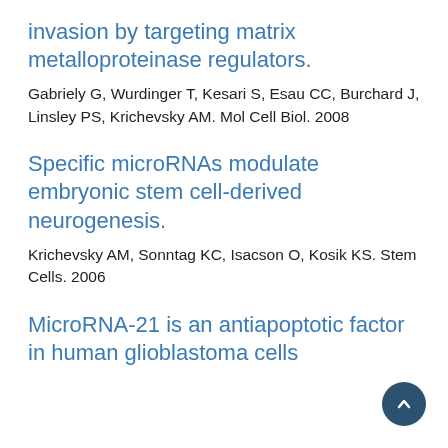invasion by targeting matrix metalloproteinase regulators.
Gabriely G, Wurdinger T, Kesari S, Esau CC, Burchard J, Linsley PS, Krichevsky AM. Mol Cell Biol. 2008
Specific microRNAs modulate embryonic stem cell-derived neurogenesis.
Krichevsky AM, Sonntag KC, Isacson O, Kosik KS. Stem Cells. 2006
MicroRNA-21 is an antiapoptotic factor in human glioblastoma cells